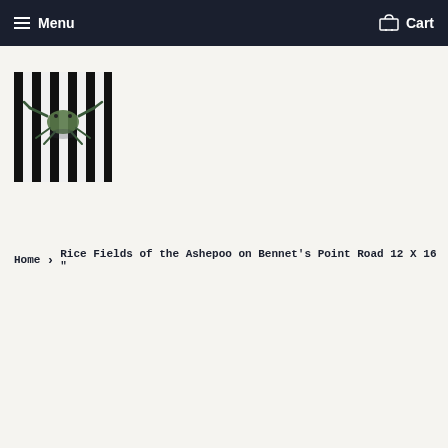Menu   Cart
[Figure (photo): Thumbnail image of a crab on a black and white striped background, viewed from above]
Home › Rice Fields of the Ashepoo on Bennet's Point Road 12 X 16 "